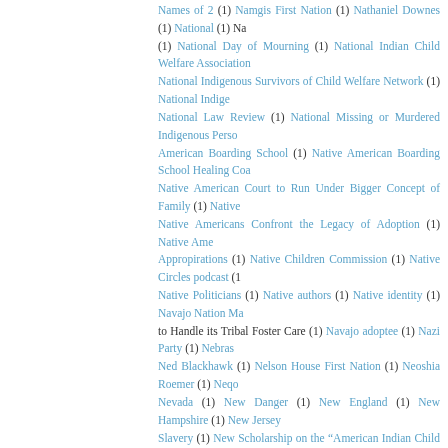Names of 2 (1) Namgis First Nation (1) Nathaniel Downes (1) National (1) Na (1) National Day of Mourning (1) National Indian Child Welfare Association National Indigenous Survivors of Child Welfare Network (1) National Indige National Law Review (1) National Missing or Murdered Indigenous Perso American Boarding School (1) Native American Boarding School Healing Coa Native American Court to Run Under Bigger Concept of Family (1) Native Native Americans Confront the Legacy of Adoption (1) Native Ame Appropirations (1) Native Children Commission (1) Native Circles podcast (1 Native Politicians (1) Native authors (1) Native identity (1) Navajo Nation Ma to Handle its Tribal Foster Care (1) Navajo adoptee (1) Nazi Party (1) Nebras Ned Blackhawk (1) Nelson House First Nation (1) Neoshia Roemer (1) Neqo Nevada (1) New Danger (1) New England (1) New Hampshire (1) New Jersey Slavery (1) New Scholarship on the “American Indian Child Welfare Crisi Years resolutions (1) New York Indian Adoption Program (1) New York Tim (1) New York adoption registry (1) New York state adoptee registry (1) New Programs (1) Newfoundland (1) Newt Gingrich (1) Nick Estes (1) Nimkii Vember (1) Non-Profit Quarterly (1) North America (1) North Carolina ad Cheyenne adoptee (1) Norway House Indian Residential School (1) Not Inv (1) November 2014 (1) OBC rights (1) OCD (1) OHIO (1) OUR VIEW: ICWA s Mission (1) Oblate General Archives (1) Oblate experiment in education (1) (1) October 2021 (1) Oglala Lakota (1) Ohio Adoptees (1) Ohio Adoption ohpihmeh (1) Omaha Tribe (1) Once Upon a Time (1) One Small Sacrifi splitfeather syndrome (1) Onigamiising: Seasons of an Ojibwe Year (1) Ontario lawsuit (1) Operation Papoose (1) Oprah family secret (1) Oprah's a